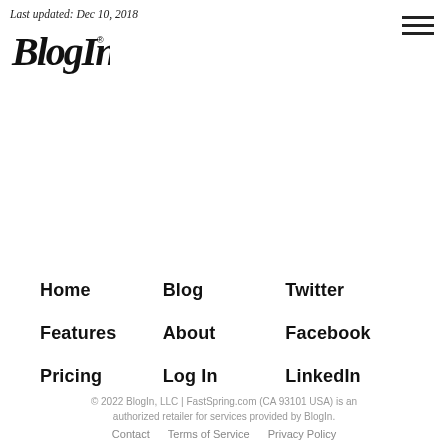Last updated: Dec 10, 2018
[Figure (logo): BlogIn logo in handwritten/script style with registered trademark symbol]
Home
Blog
Twitter
Features
About
Facebook
Pricing
Log In
LinkedIn
© 2022 BlogIn, LLC | FastSpring.com (CA 93101 USA) is an authorized retailer for services provided by BlogIn.
Contact   Terms of Service   Privacy Policy